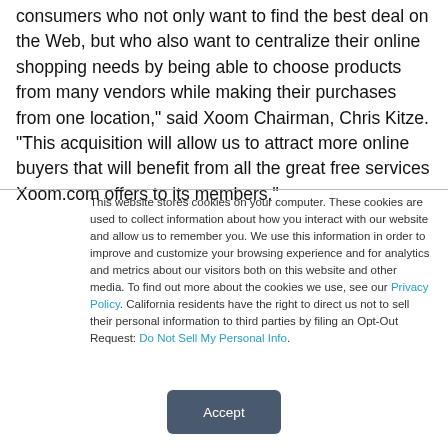consumers who not only want to find the best deal on the Web, but who also want to centralize their online shopping needs by being able to choose products from many vendors while making their purchases from one location," said Xoom Chairman, Chris Kitze. "This acquisition will allow us to attract more online buyers that will benefit from all the great free services Xoom.com offers to its members."
This website stores cookies on your computer. These cookies are used to collect information about how you interact with our website and allow us to remember you. We use this information in order to improve and customize your browsing experience and for analytics and metrics about our visitors both on this website and other media. To find out more about the cookies we use, see our Privacy Policy. California residents have the right to direct us not to sell their personal information to third parties by filing an Opt-Out Request: Do Not Sell My Personal Info.
Accept